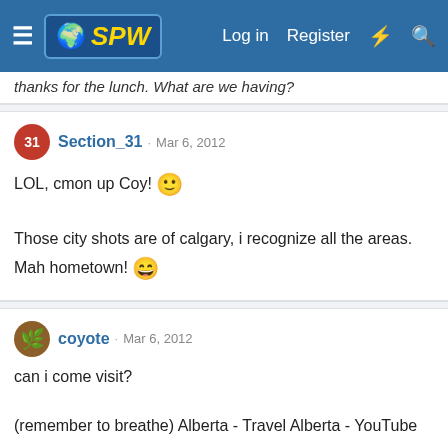SPW - Log in - Register
thanks for the lunch. What are we having?
Section_31 · Mar 6, 2012
LOL, cmon up Coy! 🙂

Those city shots are of calgary, i recognize all the areas. Mah hometown! 😄
coyote · Mar 6, 2012
can i come visit?

(remember to breathe) Alberta - Travel Alberta - YouTube
twiggle · Mar 3, 2012
Your wedding photo is amazingly cute and made me smile, you guys look like the sweetest couple ever, that's all I wanted to say. Keep smiling, Gunman. 🙂